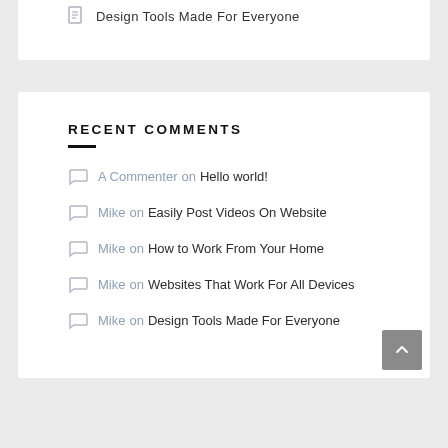Design Tools Made For Everyone
RECENT COMMENTS
A Commenter on Hello world!
Mike on Easily Post Videos On Website
Mike on How to Work From Your Home
Mike on Websites That Work For All Devices
Mike on Design Tools Made For Everyone